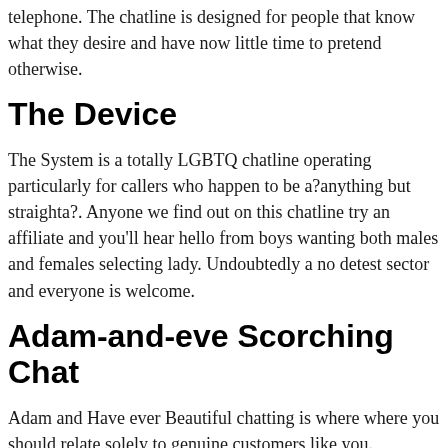telephone. The chatline is designed for people that know what they desire and have now little time to pretend otherwise.
The Device
The System is a totally LGBTQ chatline operating particularly for callers who happen to be a?anything but straighta?. Anyone we find out on this chatline try an affiliate and you'll hear hello from boys wanting both males and females selecting lady. Undoubtedly a no detest sector and everyone is welcome.
Adam-and-eve Scorching Chat
Adam and Have ever Beautiful chatting is where where you should relate solely to genuine customers like you. Generate